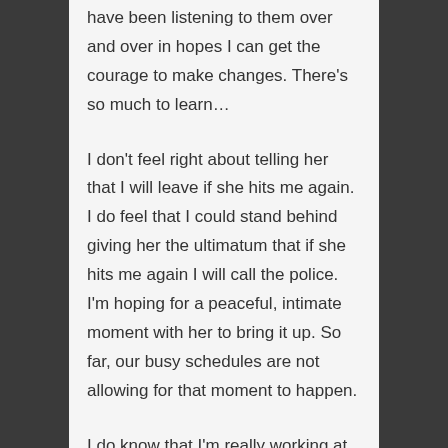have been listening to them over and over in hopes I can get the courage to make changes. There's so much to learn…
I don't feel right about telling her that I will leave if she hits me again. I do feel that I could stand behind giving her the ultimatum that if she hits me again I will call the police. I'm hoping for a peaceful, intimate moment with her to bring it up. So far, our busy schedules are not allowing for that moment to happen.
I do know that I'm really working at